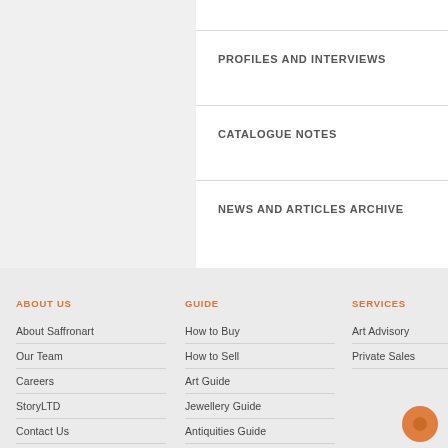PROFILES AND INTERVIEWS
CATALOGUE NOTES
NEWS AND ARTICLES ARCHIVE
ABOUT US
About Saffronart
Our Team
Careers
StoryLTD
Contact Us
GUIDE
How to Buy
How to Sell
Art Guide
Jewellery Guide
Antiquities Guide
SERVICES
Art Advisory
Private Sales